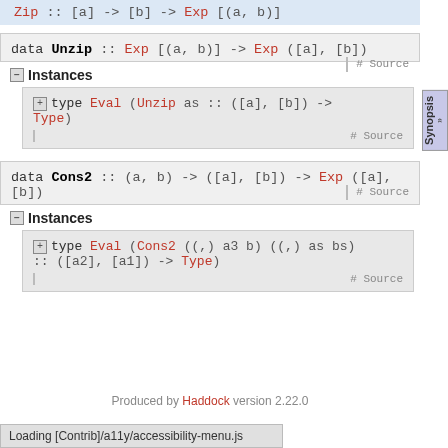Zip :: [a] -> [b] -> Exp [(a, b)]
data Unzip :: Exp [(a, b)] -> Exp ([a], [b])
# Source
⊟ Instances
⊞ type Eval (Unzip as :: ([a], [b]) -> Type)
# Source
data Cons2 :: (a, b) -> ([a], [b]) -> Exp ([a], [b])
# Source
⊟ Instances
⊞ type Eval (Cons2 ((,) a3 b) ((,) as bs) :: ([a2], [a1]) -> Type)
# Source
Produced by Haddock version 2.22.0
Loading [Contrib]/a11y/accessibility-menu.js